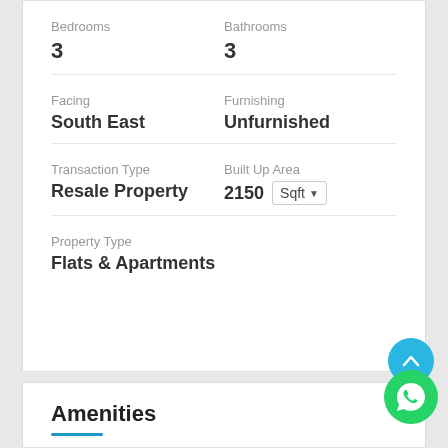Bedrooms
3
Bathrooms
3
Facing
South East
Furnishing
Unfurnished
Transaction Type
Resale Property
Built Up Area
2150 Sqft
Property Type
Flats & Apartments
Amenities
Power Back Up
Water Storage